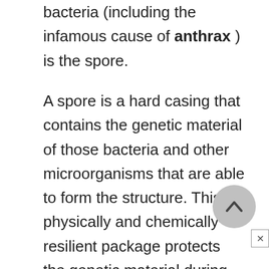bacteria (including the infamous cause of anthrax ) is the spore.
A spore is a hard casing that contains the genetic material of those bacteria and other microorganisms that are able to form the structure. This physically and chemically resilient package protects the genetic material during periods when the environmental conditions are so harsh that the growing form of the microbe would be killed.